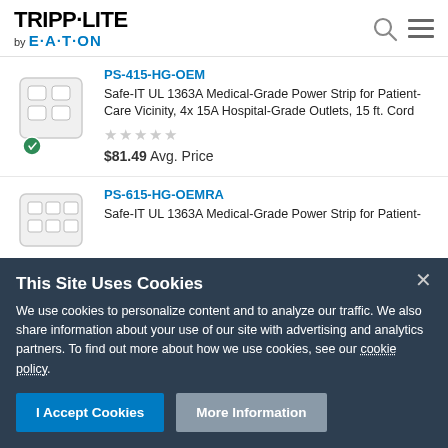[Figure (logo): Tripp-Lite by Eaton logo in top left corner]
[Figure (screenshot): Product listing item 1: PS-415-HG-OEM - Safe-IT UL 1363A Medical-Grade Power Strip for Patient-Care Vicinity, 4x 15A Hospital-Grade Outlets, 15 ft. Cord. Price $81.49 Avg. Price]
[Figure (screenshot): Product listing item 2: PS-615-HG-OEMRA - Safe-IT UL 1363A Medical-Grade Power Strip for Patient- (truncated)]
This Site Uses Cookies
We use cookies to personalize content and to analyze our traffic. We also share information about your use of our site with advertising and analytics partners. To find out more about how we use cookies, see our cookie policy.